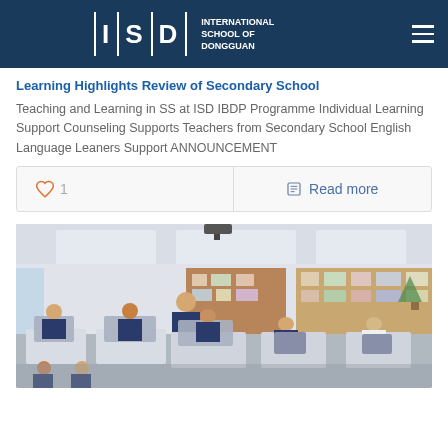International School of Dongguan — ISD
Learning Highlights Review of Secondary School
Teaching and Learning in SS at ISD IBDP Programme Individual Learning Support Counseling Supports Teachers from Secondary School English Language Leaners Support ANNOUNCEMENT
[Figure (photo): Classroom scene with students sitting at desks working on laptops and tablets, with a teacher assisting a student. Colorful bulletin boards visible in background.]